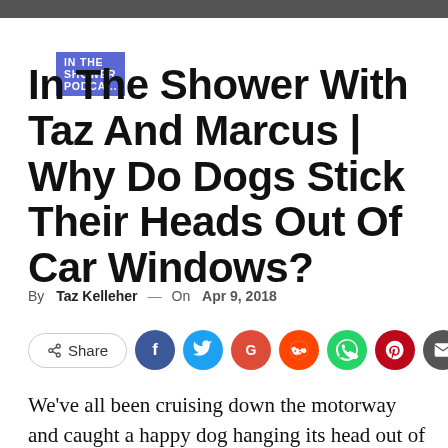[Figure (photo): Dark gray image bar at the top of the page]
IN THE SHOWER PODCA...
In The Shower With Taz And Marcus | Why Do Dogs Stick Their Heads Out Of Car Windows?
By Taz Kelleher — On Apr 9, 2018
[Figure (infographic): Social share buttons: Share, Facebook, Twitter, Google+, Reddit, WhatsApp, Pinterest, Email]
We've all been cruising down the motorway and caught a happy dog hanging its head out of another cars window. It's their natural reaction,